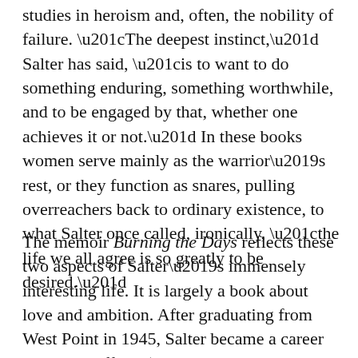studies in heroism and, often, the nobility of failure. “The deepest instinct,” Salter has said, “is to want to do something enduring, something worthwhile, and to be engaged by that, whether one achieves it or not.” In these books women serve mainly as the warrior’s rest, or they function as snares, pulling overreachers back to ordinary existence, to what Salter once called, ironically, “the life we all agree is so greatly to be desired.”
The memoir Burning the Days reflects these two aspects of Salter’s immensely interesting life. It is largely a book about love and ambition. After graduating from West Point in 1945, Salter became a career Air Force officer (leaving the service only in 1957 when he’d published his first novel and sold it